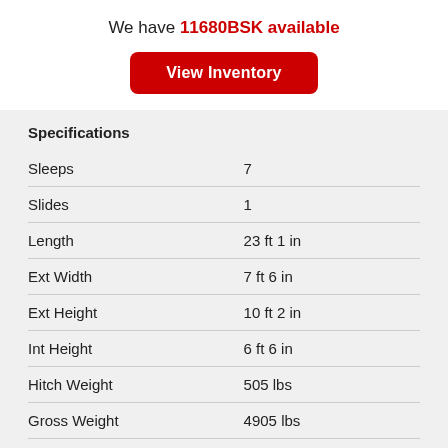We have 11680BSK available
View Inventory
Specifications
| Specification | Value |
| --- | --- |
| Sleeps | 7 |
| Slides | 1 |
| Length | 23 ft 1 in |
| Ext Width | 7 ft 6 in |
| Ext Height | 10 ft 2 in |
| Int Height | 6 ft 6 in |
| Hitch Weight | 505 lbs |
| Gross Weight | 4905 lbs |
| Dry Weight | 4049 lbs |